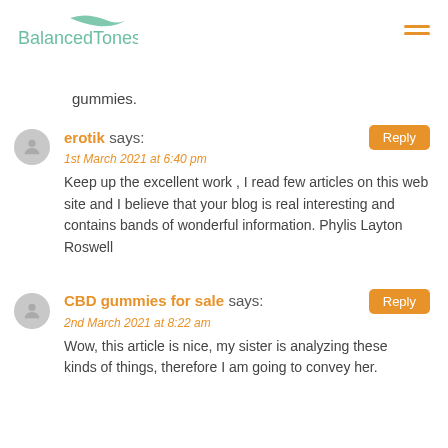BalancedTones
gummies.
erotik says:
1st March 2021 at 6:40 pm
Keep up the excellent work , I read few articles on this web site and I believe that your blog is real interesting and contains bands of wonderful information. Phylis Layton Roswell
CBD gummies for sale says:
2nd March 2021 at 8:22 am
Wow, this article is nice, my sister is analyzing these kinds of things, therefore I am going to convey her.